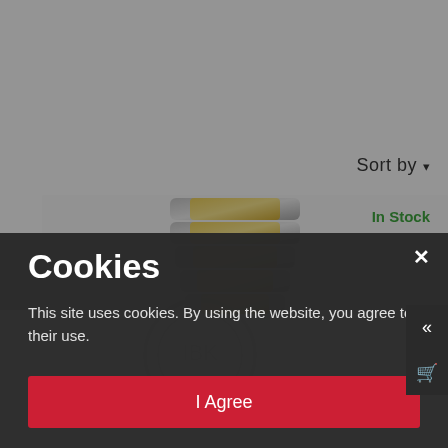Sort by ▾
In Stock
[Figure (photo): Watch bracelet/band with alternating gold and silver links stacked horizontally]
Cookies
This site uses cookies. By using the website, you agree to their use.
I Agree